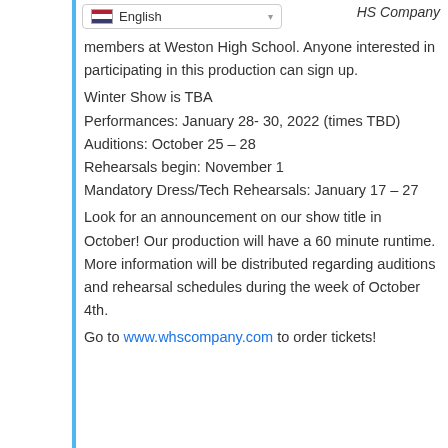HS Company
[Figure (screenshot): Language selector dropdown showing US flag and 'English' with dropdown arrow]
members at Weston High School. Anyone interested in participating in this production can sign up.
Winter Show is TBA
Performances: January 28- 30, 2022 (times TBD)
Auditions: October 25 – 28
Rehearsals begin: November 1
Mandatory Dress/Tech Rehearsals: January 17 – 27
Look for an announcement on our show title in October! Our production will have a 60 minute runtime. More information will be distributed regarding auditions and rehearsal schedules during the week of October 4th.
Go to www.whscompany.com to order tickets!